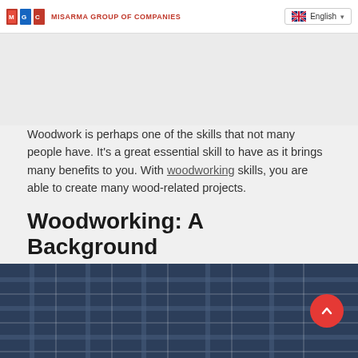MISARMA GROUP OF COMPANIES | English
Woodwork is perhaps one of the skills that not many people have. It's a great essential skill to have as it brings many benefits to you. With woodworking skills, you are able to create many wood-related projects.
Woodworking: A Background
[Figure (photo): Close-up photo of a person wearing a blue plaid flannel shirt, working with woodworking tools in a workshop setting. A red circular scroll-to-top button is visible in the lower right corner.]